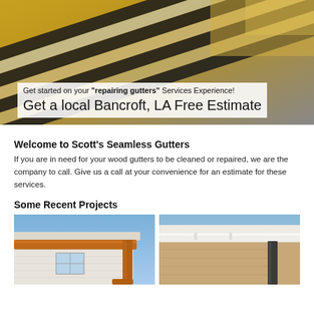[Figure (photo): Close-up photo of metal gutters with gold/yellow coloring and dark stripes, diagonal view]
Get started on your "repairing gutters" Services Experience! Get a local Bancroft, LA Free Estimate
Welcome to Scott's Seamless Gutters
If you are in need for your wood gutters to be cleaned or repaired, we are the company to call.  Give us a call at your convenience for an estimate for these services.
Some Recent Projects
[Figure (photo): Photo of copper/brown seamless gutter installed on corner of white house with blue sky]
[Figure (photo): Photo of white seamless gutter with dark downspout on tan/beige house exterior]